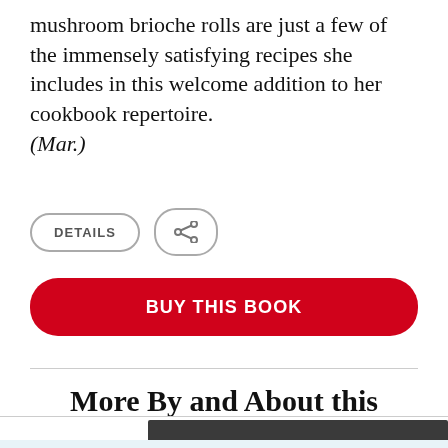mushroom brioche rolls are just a few of the immensely satisfying recipes she includes in this welcome addition to her cookbook repertoire. (Mar.)
DETAILS
Share icon
BUY THIS BOOK
More By and About this Author >